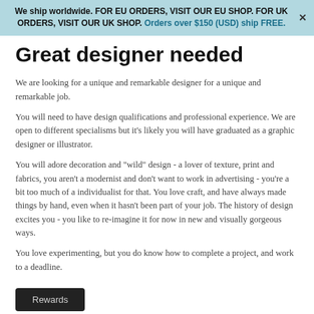We ship worldwide. FOR EU ORDERS, VISIT OUR EU SHOP. FOR UK ORDERS, VISIT OUR UK SHOP. Orders over $150 (USD) ship FREE.
Great designer needed
We are looking for a unique and remarkable designer for a unique and remarkable job.
You will need to have design qualifications and professional experience. We are open to different specialisms but it's likely you will have graduated as a graphic designer or illustrator.
You will adore decoration and "wild" design - a lover of texture, print and fabrics, you aren't a modernist and don't want to work in advertising - you're a bit too much of a individualist for that. You love craft, and have always made things by hand, even when it hasn't been part of your job. The history of design excites you - you like to re-imagine it for now in new and visually gorgeous ways.
You love experimenting, but you do know how to complete a project, and work to a deadline.
Rewards